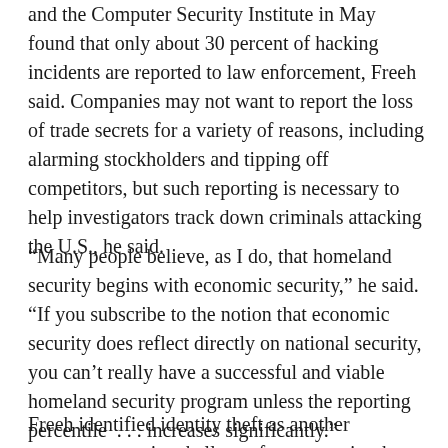and the Computer Security Institute in May found that only about 30 percent of hacking incidents are reported to law enforcement, Freeh said. Companies may not want to report the loss of trade secrets for a variety of reasons, including alarming stockholders and tipping off competitors, but such reporting is necessary to help investigators track down criminals attacking the U.S., he said.
“Many people believe, as I do, that homeland security begins with economic security,” he said. “If you subscribe to the notion that economic security does reflect directly on national security, you can’t really have a successful and viable homeland security program unless the reporting percentile … increases significantly.”
Freeh identified identity theft as another computer security challenge for companies, but one of the